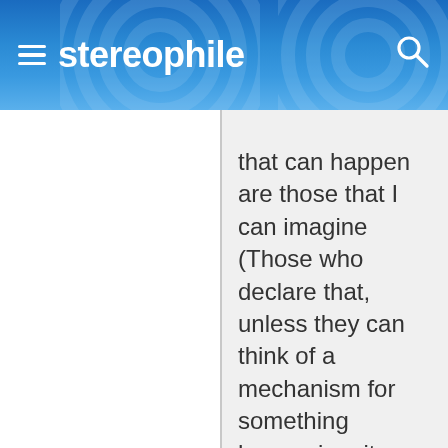stereophile
that can happen are those that I can imagine (Those who declare that, unless they can think of a mechanism for something happening, it can’t happen, are presuming knowledge of all that was known,